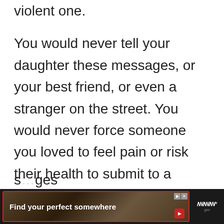violent one.

You would never tell your daughter these messages, or your best friend, or even a stranger on the street. You would never force someone you loved to feel pain or risk their health to submit to a visual standard, and if they didn't, withhold love. And if you saw s…ges
[Figure (screenshot): Advertisement banner at bottom of screen with dark background. Red-bordered ad unit showing 'Find your perfect somewhere' text over a warm-toned background image. Includes close/skip buttons and a TV-style icon on the right.]